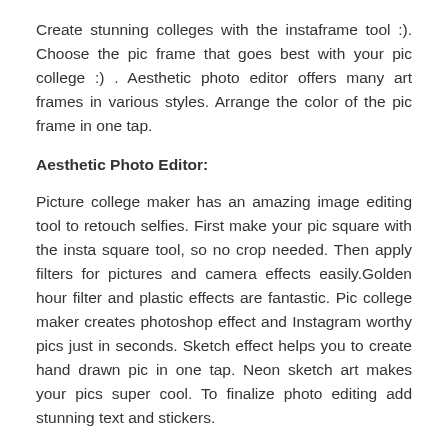Create stunning colleges with the instaframe tool :). Choose the pic frame that goes best with your pic college :) . Aesthetic photo editor offers many art frames in various styles. Arrange the color of the pic frame in one tap.
Aesthetic Photo Editor:
Picture college maker has an amazing image editing tool to retouch selfies. First make your pic square with the insta square tool, so no crop needed. Then apply filters for pictures and camera effects easily.Golden hour filter and plastic effects are fantastic. Pic college maker creates photoshop effect and Instagram worthy pics just in seconds. Sketch effect helps you to create hand drawn pic in one tap. Neon sketch art makes your pics super cool. To finalize photo editing add stunning text and stickers.
Selfie Camera:
Snap stunning selfie to make brilliant collages Selfie camera...